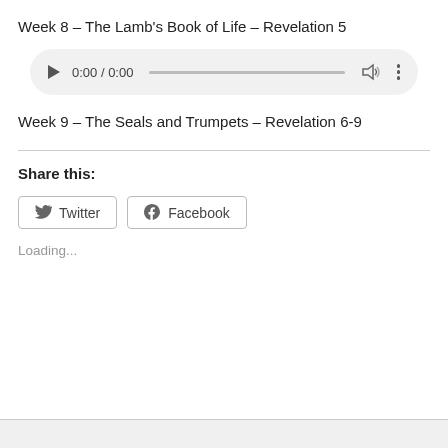Week 8 – The Lamb's Book of Life – Revelation 5
[Figure (other): Audio player widget showing 0:00 / 0:00 with play button, progress bar, volume icon, and more-options icon]
Week 9 – The Seals and Trumpets – Revelation 6-9
Share this:
Twitter
Facebook
Loading...